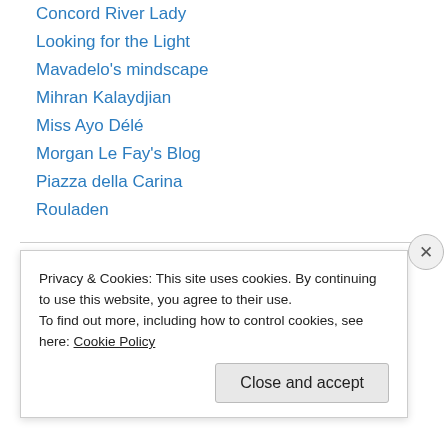Concord River Lady
Looking for the Light
Mavadelo's mindscape
Mihran Kalaydjian
Miss Ayo Délé
Morgan Le Fay's Blog
Piazza della Carina
Rouladen
Visual arts
AB Photography
Art History about.com
Privacy & Cookies: This site uses cookies. By continuing to use this website, you agree to their use.
To find out more, including how to control cookies, see here: Cookie Policy
Close and accept